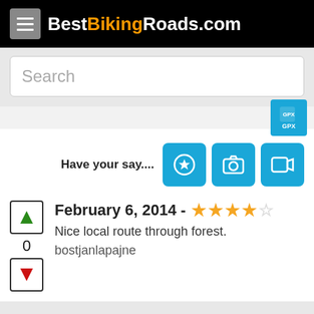BestBikingRoads.com
Search
[Figure (screenshot): GPX download button]
Have your say....
February 6, 2014 - ★★★★☆
Nice local route through forest.
bostjanlapajne
Enjoy the road time with